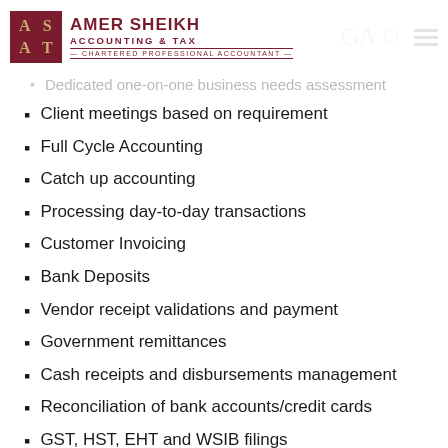Amer Sheikh Accounting & Tax — Chartered Professional Accountant
Dedicated one-on-one business needs assessment
Client meetings based on requirement
Full Cycle Accounting
Catch up accounting
Processing day-to-day transactions
Customer Invoicing
Bank Deposits
Vendor receipt validations and payment
Government remittances
Cash receipts and disbursements management
Reconciliation of bank accounts/credit cards
GST, HST, EHT and WSIB filings